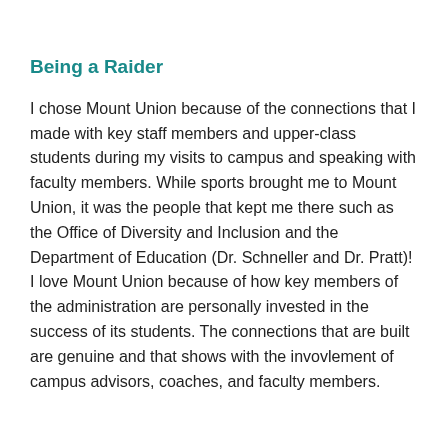Being a Raider
I chose Mount Union because of the connections that I made with key staff members and upper-class students during my visits to campus and speaking with faculty members. While sports brought me to Mount Union, it was the people that kept me there such as the Office of Diversity and Inclusion and the Department of Education (Dr. Schneller and Dr. Pratt)! I love Mount Union because of how key members of the administration are personally invested in the success of its students. The connections that are built are genuine and that shows with the invovlement of campus advisors, coaches, and faculty members.